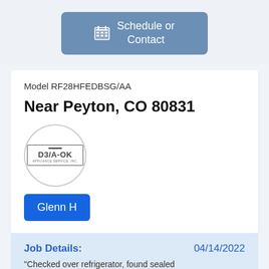[Figure (illustration): Button with calendar icon labeled 'Schedule or Contact' on blue-grey background]
Model RF28HFEDBSG/AA
Near Peyton, CO 80831
[Figure (logo): D3/A-OK Appliance Service, Inc. logo inside a circle]
Glenn H
Job Details:     04/14/2022
"Checked over refrigerator, found sealed